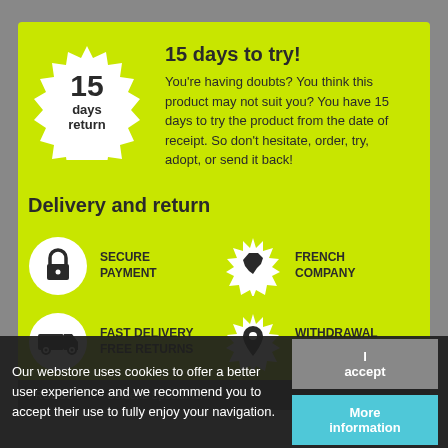[Figure (infographic): White starburst/badge shape with '15' large, 'days return' below in dark text]
15 days to try!
You're having doubts? You think this product may not suit you? You have 15 days to try the product from the date of receipt. So don't hesitate, order, try, adopt, or send it back!
Delivery and return
[Figure (infographic): Four icon badges in 2x2 grid: lock icon (SECURE PAYMENT), France map icon (FRENCH COMPANY), truck icon (FAST DELIVERY FREE RETURNS), pin icon (WITHDRAWAL AT THE STORE)]
SECURE PAYMENT
FRENCH COMPANY
FAST DELIVERY FREE RETURNS
WITHDRAWAL AT THE STORE
Our webstore uses cookies to offer a better user experience and we recommend you to accept their use to fully enjoy your navigation.